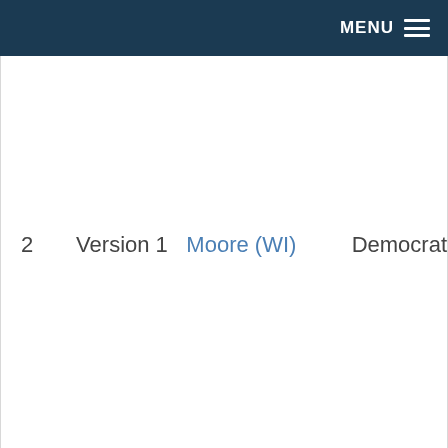MENU
|  | Version | Name | Party |
| --- | --- | --- | --- |
| 2 | Version 1 | Moore (WI) | Democrat |